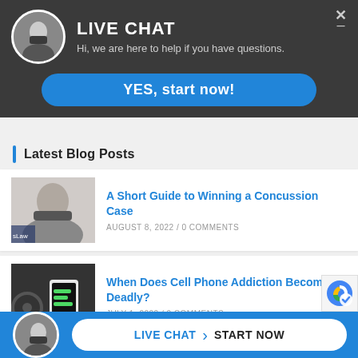LIVE CHAT
Hi, we are here to help if you have questions.
YES, start now!
Latest Blog Posts
A Short Guide to Winning a Concussion Case
AUGUST 8, 2022 / 0 COMMENTS
When Does Cell Phone Addiction Become Deadly?
JULY 1, 2022 / 0 COMMENTS
LIVE CHAT › START NOW